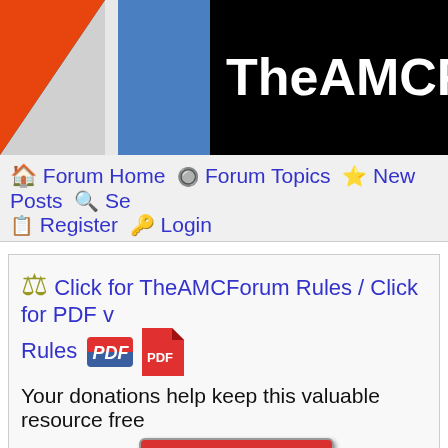TheAMCForum.co
🏠 Forum Home 🔘 Forum Topics ⭐ New Posts 🔍 Se 📋 Register 🔑 Login
⚖ Click for TheAMCForum Rules / Click for PDF v Rules [PDF icon] Your donations help keep this valuable resource free Thank you. [Make a Donation button]
Fuel pump woes
Post Reply [icon]   Page 2
Fuel pump woes